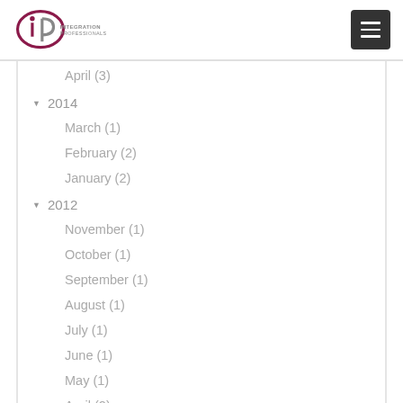Integration Professionals logo and menu button
April (3)
2014
March (1)
February (2)
January (2)
2012
November (1)
October (1)
September (1)
August (1)
July (1)
June (1)
May (1)
April (2)
March (2)